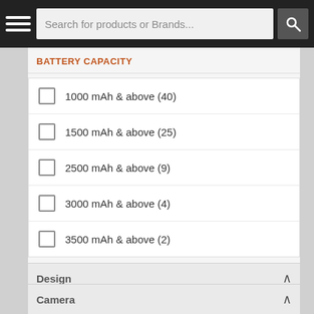Search for products or Brands...
BATTERY CAPACITY
1000 mAh & above (40)
1500 mAh & above (25)
2500 mAh & above (9)
3000 mAh & above (4)
3500 mAh & above (2)
Design
Light Weight (31)
Wide Angle Lens (5)
Camera